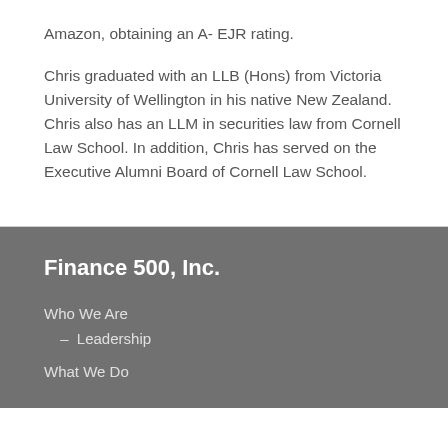Amazon, obtaining an A- EJR rating.
Chris graduated with an LLB (Hons) from Victoria University of Wellington in his native New Zealand. Chris also has an LLM in securities law from Cornell Law School. In addition, Chris has served on the Executive Alumni Board of Cornell Law School.
Finance 500, Inc.
Who We Are
– Leadership
What We Do